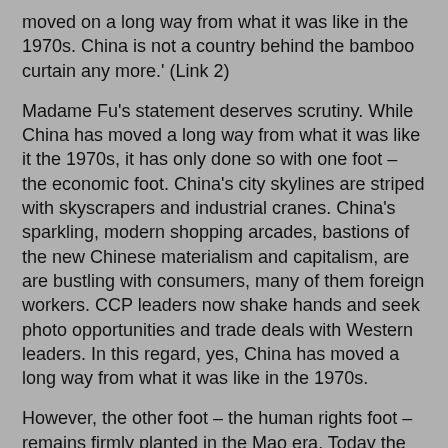moved on a long way from what it was like in the 1970s. China is not a country behind the bamboo curtain any more.' (Link 2)
Madame Fu's statement deserves scrutiny. While China has moved a long way from what it was like it the 1970s, it has only done so with one foot – the economic foot. China's city skylines are striped with skyscrapers and industrial cranes. China's sparkling, modern shopping arcades, bastions of the new Chinese materialism and capitalism, are are bustling with consumers, many of them foreign workers. CCP leaders now shake hands and seek photo opportunities and trade deals with Western leaders. In this regard, yes, China has moved a long way from what it was like in the 1970s.
However, the other foot – the human rights foot – remains firmly planted in the Mao era. Today the very same instruments of repression that Mao himself established and used from the early 1950s, are still being employed by the ruling CCP to crush dissent. As long as this is the case, China cannot boast that the bamboo curtain has come down.